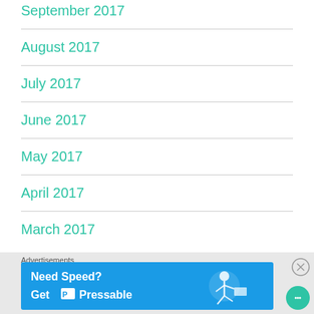September 2017
August 2017
July 2017
June 2017
May 2017
April 2017
March 2017
[Figure (infographic): Advertisement banner: Need Speed? Get Pressable, blue background with running person illustration]
Advertisements